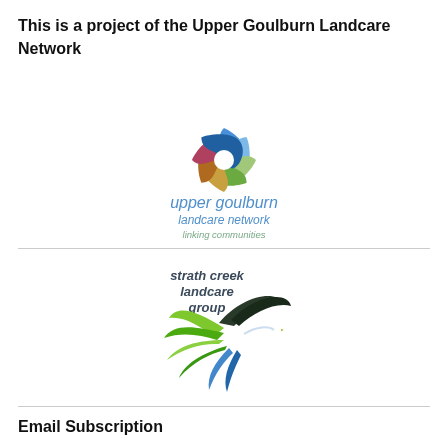This is a project of the Upper Goulburn Landcare Network
[Figure (logo): Upper Goulburn Landcare Network logo with spiral graphic and text 'upper goulburn landcare network linking communities']
[Figure (logo): Strath Creek Landcare Group logo with colorful bird illustration and text 'strath creek landcare group']
Email Subscription